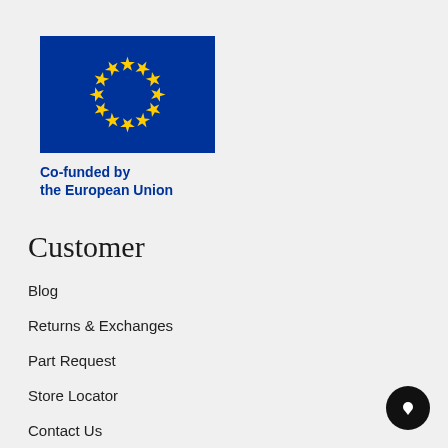[Figure (logo): European Union flag: blue background with 12 yellow stars in a circle]
Co-funded by the European Union
Customer
Blog
Returns & Exchanges
Part Request
Store Locator
Contact Us
Newsletter Sign Up